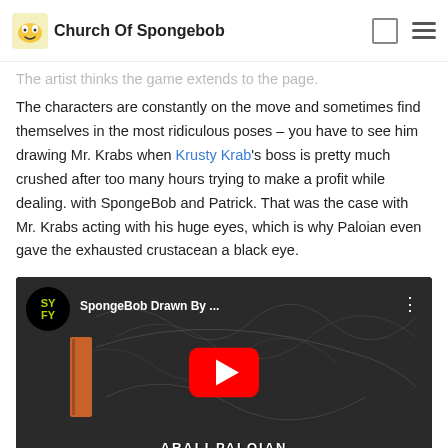Church Of Spongebob
The artist thinks the game extends to the page. The characters are constantly on the move and sometimes find themselves in the most ridiculous poses – you have to see him drawing Mr. Krabs when Krusty Krab's boss is pretty much crushed after too many hours trying to make a profit while dealing. with SpongeBob and Patrick. That was the case with Mr. Krabs acting with his huge eyes, which is why Paloian even gave the exhausted crustacean a black eye.
[Figure (screenshot): YouTube video thumbnail showing SpongeBob drawn by artist, with SYFY logo badge and red play button. Video title reads 'SpongeBob Drawn By ...' with bottom text showing 'ARALI PALOIAN']